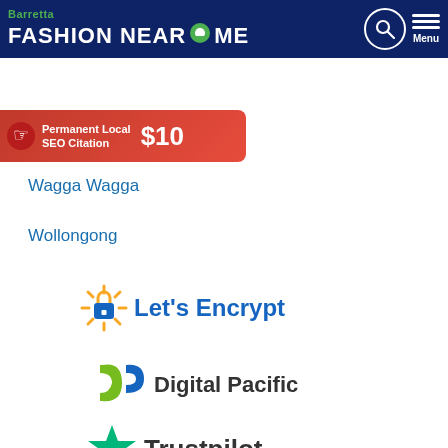Barretta FASHION NEAR ME
[Figure (infographic): Red ad banner: Permanent Local SEO Citation $10]
Townsville
Wagga Wagga
Wollongong
[Figure (logo): Let's Encrypt logo with padlock and sun rays]
[Figure (logo): Digital Pacific logo with stylized dp letters]
[Figure (logo): Trustpilot logo with green star]